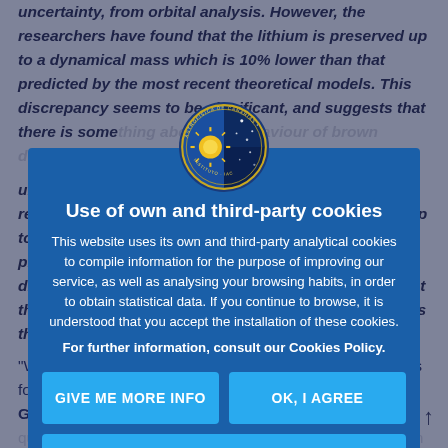uncertainty, from orbital analysis. However, the researchers have found that the lithium is preserved up to a dynamical mass which is 10% lower than that predicted by the most recent theoretical models. This discrepancy seems to be significant, and suggests that there is something about the behaviour of brown dwarfs that we still don't understand.
"We have been following the trail of lithium in brown dwarfs for three decades" says Eduardo Lorenzo Martín Guerrero de Escalante. This led (2023) in his quest to find objects above the mass threshold. "In the new study we have studied more than 50 brown dwarf candidates of the Pleiades cluster, characterised its features and its destruction and compare them with the theoretical predictions". The researcher adds that "there are thousands of millions of brown dwarfs in the Milky Way. The lithium contained in them represents a huge reservoir of this element in our cosmic neighbourhood".
Chemist... the...
explains that "although primordial lithium was created million years ago, together with hydrogen and helium,
[Figure (logo): Circular institutional badge/seal logo with blue and gold design, star and astronomical imagery]
Use of own and third-party cookies
This website uses its own and third-party analytical cookies to compile information for the purpose of improving our service, as well as analysing your browsing habits, in order to obtain statistical data. If you continue to browse, it is understood that you accept the installation of these cookies.
For further information, consult our Cookies Policy.
GIVE ME MORE INFO
OK, I AGREE
I DO NOT AGREE